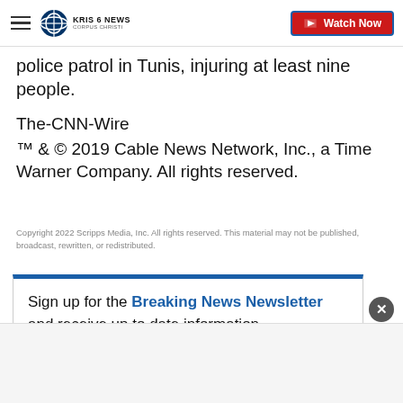KRIS 6 NEWS CORPUS CHRISTI — Watch Now
police patrol in Tunis, injuring at least nine people.
The-CNN-Wire
™ & © 2019 Cable News Network, Inc., a Time Warner Company. All rights reserved.
Copyright 2022 Scripps Media, Inc. All rights reserved. This material may not be published, broadcast, rewritten, or redistributed.
Sign up for the Breaking News Newsletter and receive up to date information.